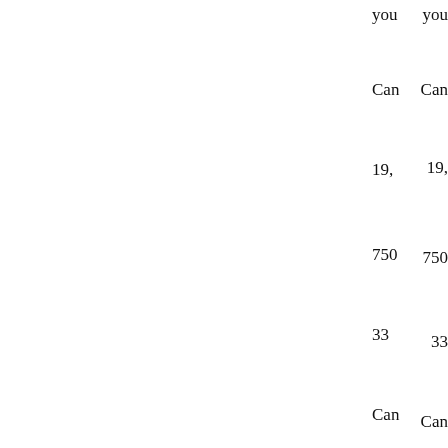you
Can
19,
750
33
Can
Just cen
22,
750
T 3
F 3
Can
[Figure (photo): Two panels of colorful fabric/curtains with fleur-de-lis and floral pattern in red, cyan/turquoise and pink colors, with hanging pendant lights visible against a dark background.]